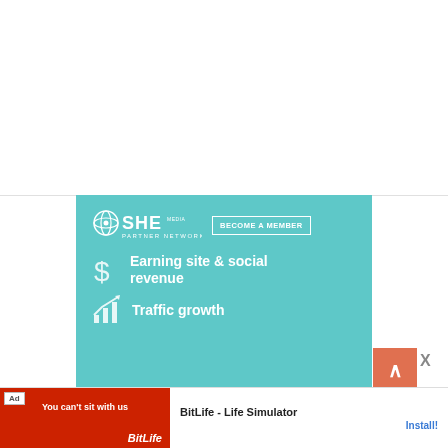[Figure (illustration): SHE Media Partner Network advertisement banner on teal background. Shows SHE Media logo with 'BECOME A MEMBER' button, dollar sign icon with 'Earning site & social revenue', and bar-chart growth icon with 'Traffic growth'.]
[Figure (screenshot): Bottom mobile app advertisement banner: BitLife - Life Simulator with red background image and Install button.]